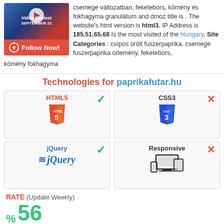csemege változatban, feketebors, kömény és fokhagyma granulátum and dmoz title is . The website's html version is html3, IP Address is 185.51.65.68 Is the most visited of the Hungary. Site Categories : csípos orölt fuszerpaprika, csemege fuszerpaprika orlemény, feketebors, kömény fokhagyma
Technologies for paprikafutar.hu
[Figure (infographic): HTML5 technology card with green checkmark, showing HTML5 label in red and HTML5 shield logo]
[Figure (infographic): CSS3 technology card with red X mark, showing CSS3 label and CSS3 shield logo]
[Figure (infographic): jQuery technology card with green checkmark, showing jQuery label in blue and jQuery logo]
[Figure (infographic): Responsive technology card with red X mark, showing Responsive label and multi-device icon]
RATE (Update Weekly)
% 56